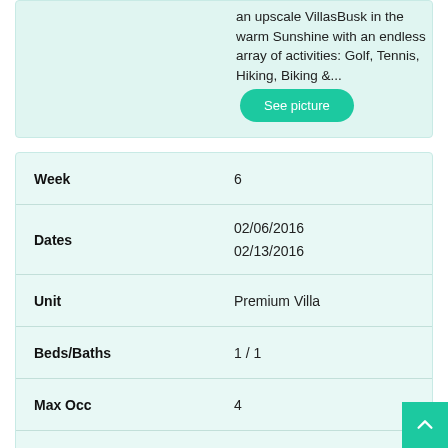an upscale VillasBusk in the warm Sunshine with an endless array of activities: Golf, Tennis, Hiking, Biking &...
See picture
| Field | Value |
| --- | --- |
| Week | 6 |
| Dates | 02/06/2016
02/13/2016 |
| Unit | Premium Villa |
| Beds/Baths | 1 / 1 |
| Max Occ | 4 |
| Rented |  |